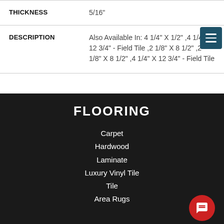|  |  |
| --- | --- |
| THICKNESS | 5/16" |
| DESCRIPTION | Also Available In: 4 1/4" X 1/2" ,4 1/4" X 12 3/4" - Field Tile ,2 1/8" X 8 1/2" ,2 1/8" X 8 1/2" ,4 1/4" X 12 3/4" - Field Tile |
FLOORING
Carpet
Hardwood
Laminate
Luxury Vinyl Tile
Tile
Area Rugs